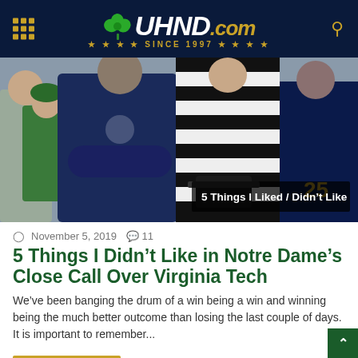UHND.COM — SINCE 1997
[Figure (photo): Notre Dame football game sideline photo showing a coach in blue Notre Dame jacket with arms crossed, a woman in green jacket, and a referee in striped uniform. Overlay text reads: 5 Things I Liked / Didn't Like]
November 5, 2019  11
5 Things I Didn't Like in Notre Dame's Close Call Over Virginia Tech
We've been banging the drum of a win being a win and winning being the much better outcome than losing the last couple of days.  It is important to remember...
Read More »